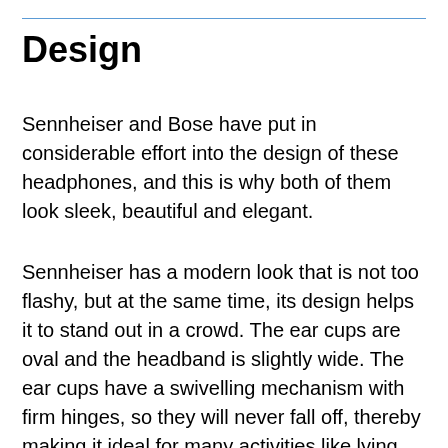Design
Sennheiser and Bose have put in considerable effort into the design of these headphones, and this is why both of them look sleek, beautiful and elegant.
Sennheiser has a modern look that is not too flashy, but at the same time, its design helps it to stand out in a crowd. The ear cups are oval and the headband is slightly wide. The ear cups have a swivelling mechanism with firm hinges, so they will never fall off, thereby making it ideal for many activities like lying down or jogging.